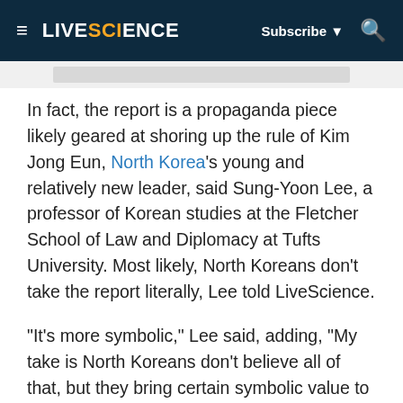LIVESCIENCE | Subscribe ▼ 🔍
In fact, the report is a propaganda piece likely geared at shoring up the rule of Kim Jong Eun, North Korea's young and relatively new leader, said Sung-Yoon Lee, a professor of Korean studies at the Fletcher School of Law and Diplomacy at Tufts University. Most likely, North Koreans don't take the report literally, Lee told LiveScience.
"It's more symbolic," Lee said, adding, "My take is North Koreans don't believe all of that, but they bring certain symbolic value to celebrating your own identify, maybe even notions of cultural exceptionalism and superiority. It boosts morale."